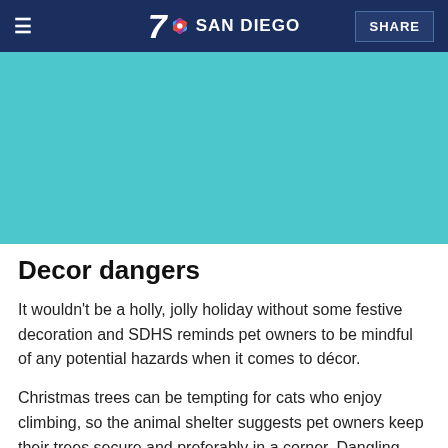7 SAN DIEGO  SHARE
[Figure (photo): Teal/turquoise colored image placeholder area]
Decor dangers
It wouldn't be a holly, jolly holiday without some festive decoration and SDHS reminds pet owners to be mindful of any potential hazards when it comes to décor.
Christmas trees can be tempting for cats who enjoy climbing, so the animal shelter suggests pet owners keep their trees secure and preferably in a corner. Dangling tree